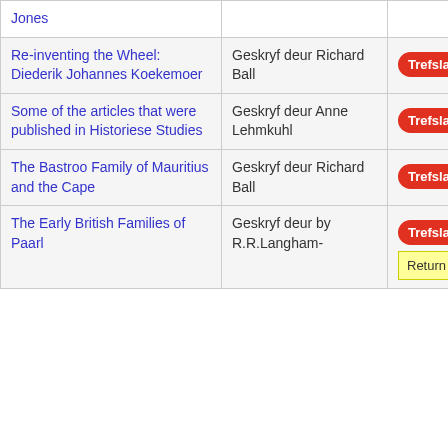| Title | Author | Hits |
| --- | --- | --- |
| Jones |  |  |
| Re-inventing the Wheel: Diederik Johannes Koekemoer | Geskryf deur Richard Ball | Trefslae: 1470 |
| Some of the articles that were published in Historiese Studies | Geskryf deur Anne Lehmkuhl | Trefslae: 1397 |
| The Bastroo Family of Mauritius and the Cape | Geskryf deur Richard Ball | Trefslae: 1402 |
| The Early British Families of Paarl | Geskryf deur by R.R.Langham- | Trefslae: 1482 |